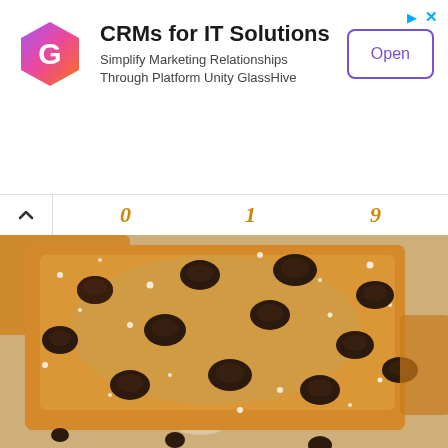[Figure (infographic): Advertisement banner for GlassHive CRM software. Contains a hexagonal logo with a colorful G icon, the title 'CRMs for IT Solutions', subtitle 'Simplify Marketing Relationships Through Platform Unity GlassHive', and an 'Open' button with purple border. Top-right corner shows advertisement icons (arrow and X) in blue.]
[Figure (other): Navigation bar with upward chevron on the left and three italic orange/gold letters (stylized numbers or script letters: 0, 1, 9) displayed in a row.]
[Figure (photo): Close-up photograph of chocolate chip cookie bars dusted with powdered sugar on parchment paper. The bars have a golden-brown color with dark chocolate chips pressed into the surface. Multiple bars are partially visible around the main central bar.]